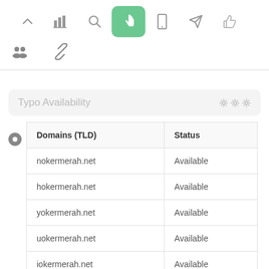[Figure (screenshot): Toolbar with navigation icons: up arrow, bar chart, search, hand/touch (active, green background), mobile, send/rocket, thumbs up]
[Figure (screenshot): Secondary toolbar with group/people icon and chain/link icon]
Typo Availability
| Domains (TLD) | Status |
| --- | --- |
| nokermerah.net | Available |
| hokermerah.net | Available |
| yokermerah.net | Available |
| uokermerah.net | Available |
| iokermerah.net | Available |